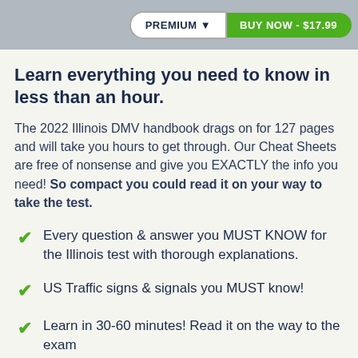PREMIUM ▼   BUY NOW - $17.99
Learn everything you need to know in less than an hour.
The 2022 Illinois DMV handbook drags on for 127 pages and will take you hours to get through. Our Cheat Sheets are free of nonsense and give you EXACTLY the info you need! So compact you could read it on your way to take the test.
Every question & answer you MUST KNOW for the Illinois test with thorough explanations.
US Traffic signs & signals you MUST know!
Learn in 30-60 minutes! Read it on the way to the exam